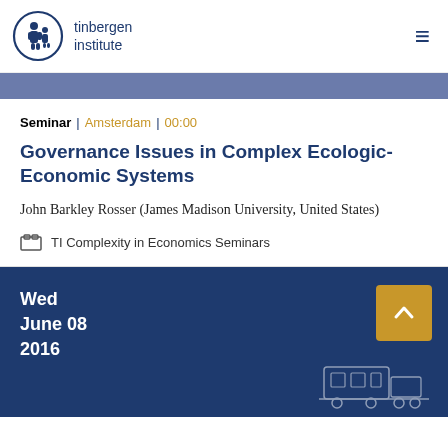[Figure (logo): Tinbergen Institute logo — circular icon with stylized figures and text 'tinbergen institute']
Seminar | Amsterdam | 00:00
Governance Issues in Complex Ecologic-Economic Systems
John Barkley Rosser (James Madison University, United States)
TI Complexity in Economics Seminars
Wed
June 08
2016